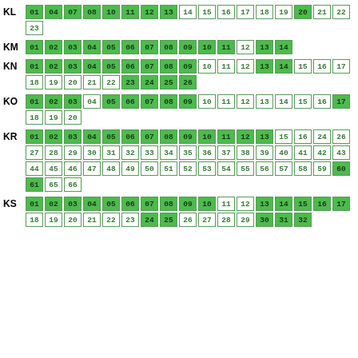KL: 01 04 07 08 10 11 12 13 14 15 16 17 18 19 20 21 22 23
KM: 01 02 03 04 05 06 07 08 09 10 11 12 13 14
KN: 01 02 03 04 05 06 07 08 09 10 11 12 13 14 15 16 17 18 19 20 21 22 23 24 25 26
KO: 01 02 03 04 05 06 07 08 09 10 11 12 13 14 15 16 17 18 19 20
KR: 01 02 03 04 05 06 07 08 09 10 11 12 13 15 16 24 26 27 28 29 30 31 32 33 34 35 36 37 38 39 40 41 42 43 44 45 46 47 48 49 50 51 52 53 54 55 56 57 58 59 60 61 65 66
KS: 01 02 03 04 05 06 07 08 09 10 11 12 13 14 15 16 17 18 19 20 21 22 23 24 25 26 27 28 29 30 31 32